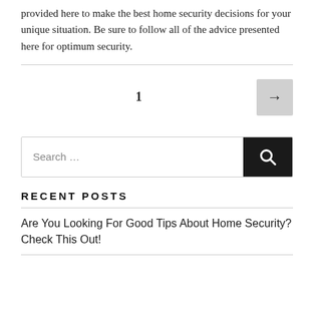provided here to make the best home security decisions for your unique situation. Be sure to follow all of the advice presented here for optimum security.
1
[Figure (other): Next page arrow button (→) with gray background]
Search …
RECENT POSTS
Are You Looking For Good Tips About Home Security? Check This Out!